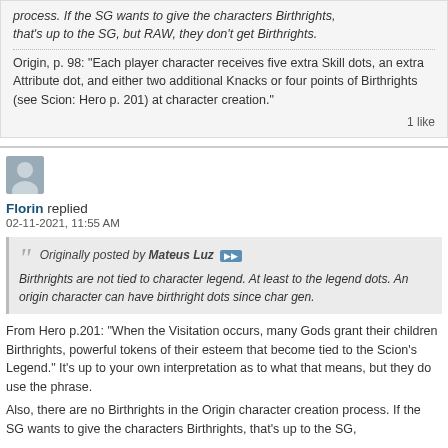process. If the SG wants to give the characters Birthrights, that's up to the SG, but RAW, they don't get Birthrights.
Origin, p. 98: "Each player character receives five extra Skill dots, an extra Attribute dot, and either two additional Knacks or four points of Birthrights (see Scion: Hero p. 201) at character creation."
1 like
[Figure (illustration): Generic user avatar icon (grey silhouette of a person on a grey background)]
Florin replied
02-11-2021, 11:55 AM
Originally posted by Mateus Luz — Birthrights are not tied to character legend. At least to the legend dots. An origin character can have birthright dots since char gen.
From Hero p.201: "When the Visitation occurs, many Gods grant their children Birthrights, powerful tokens of their esteem that become tied to the Scion's Legend." It's up to your own interpretation as to what that means, but they do use the phrase.
Also, there are no Birthrights in the Origin character creation process. If the SG wants to give the characters Birthrights, that's up to the SG,